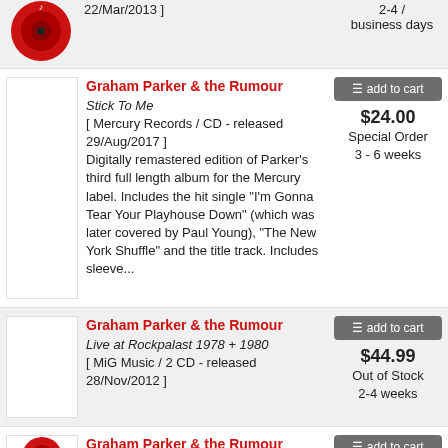22/Mar/2013 ]
2-4 / business days
Graham Parker & the Rumour
Stick To Me
[ Mercury Records / CD - released 29/Aug/2017 ]
Digitally remastered edition of Parker's third full length album for the Mercury label. Includes the hit single "I'm Gonna Tear Your Playhouse Down" (which was later covered by Paul Young), "The New York Shuffle" and the title track. Includes sleeve...
$24.00
Special Order
3 - 6 weeks
Graham Parker & the Rumour
Live at Rockpalast 1978 + 1980
[ MiG Music / 2 CD - released 28/Nov/2012 ]
$44.99
Out of Stock
2-4 weeks
Graham Parker & the Rumour
Three Chords Good